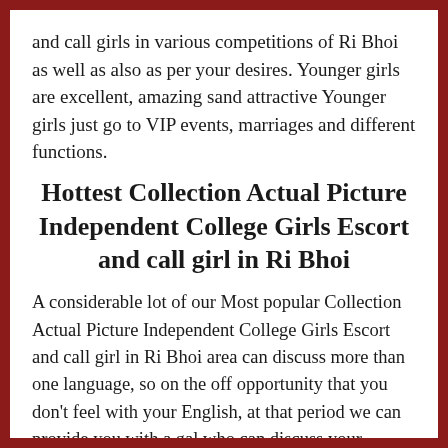and call girls in various competitions of Ri Bhoi as well as also as per your desires. Younger girls are excellent, amazing sand attractive Younger girls just go to VIP events, marriages and different functions.
Hottest Collection Actual Picture Independent College Girls Escort and call girl in Ri Bhoi
A considerable lot of our Most popular Collection Actual Picture Independent College Girls Escort and call girl in Ri Bhoi area can discuss more than one language, so on the off opportunity that you don't feel with your English, at that period we can provide you with a gal who can discuss your language. On the off opportunity that you usually need to spend power with a gal, at that period provide us with a ring in Ri Bhoi. So people can keep a escort and call girl gal in